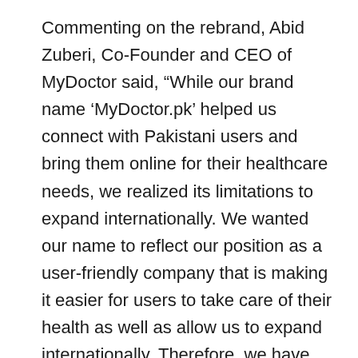Commenting on the rebrand, Abid Zuberi, Co-Founder and CEO of MyDoctor said, “While our brand name ‘MyDoctor.pk’ helped us connect with Pakistani users and bring them online for their healthcare needs, we realized its limitations to expand internationally. We wanted our name to reflect our position as a user-friendly company that is making it easier for users to take care of their health as well as allow us to expand internationally. Therefore, we have taken the decision to rebrand as oladoc and jump start our plans to become a global force in the online health sector.
In 2017, MyDoctor.pk helped over 10 lakh Pakistanis find the right doctors and specialists for their medical needs. This traction allowed the company to secure a